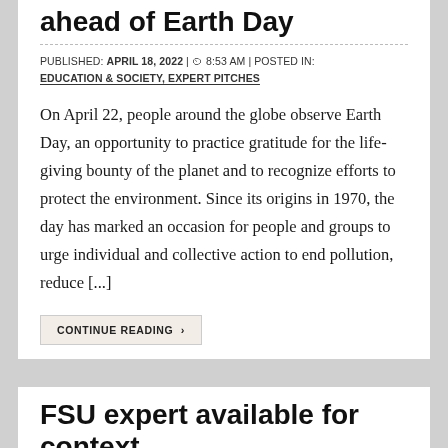ahead of Earth Day
PUBLISHED: APRIL 18, 2022 | 8:53 AM | POSTED IN: EDUCATION & SOCIETY, EXPERT PITCHES
On April 22, people around the globe observe Earth Day, an opportunity to practice gratitude for the life-giving bounty of the planet and to recognize efforts to protect the environment. Since its origins in 1970, the day has marked an occasion for people and groups to urge individual and collective action to end pollution, reduce [...]
CONTINUE READING ›
FSU expert available for context